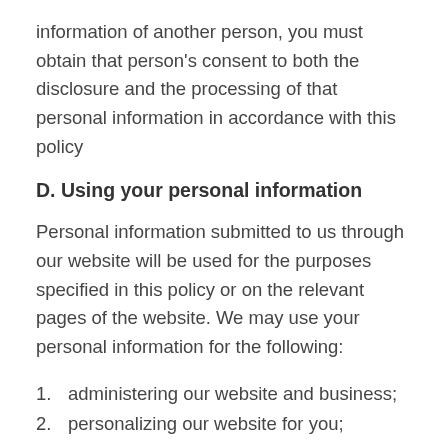information of another person, you must obtain that person's consent to both the disclosure and the processing of that personal information in accordance with this policy
D. Using your personal information
Personal information submitted to us through our website will be used for the purposes specified in this policy or on the relevant pages of the website. We may use your personal information for the following:
1. administering our website and business;
2. personalizing our website for you;
3. enabling your use of the services available on our website;